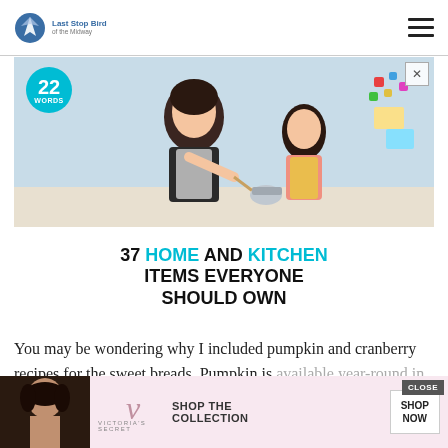Last Stop Bird of the Midway
[Figure (photo): Advertisement showing a woman and girl cooking together in a kitchen, with text overlay '37 HOME AND KITCHEN ITEMS EVERYONE SHOULD OWN' and a '22 WORDS' badge]
You may be wondering why I included pumpkin and cranberry recipes for the sweet breads. Pumpkin is available year-round in canned form (at least for me) may
[Figure (photo): Victoria's Secret advertisement with a model, VS logo, and text 'SHOP THE COLLECTION' with a 'SHOP NOW' button and 'CLOSE' label]